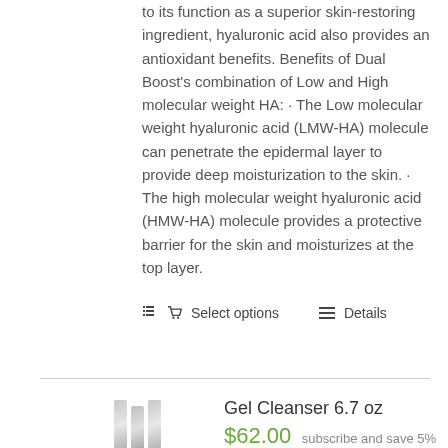to its function as a superior skin-restoring ingredient, hyaluronic acid also provides an antioxidant benefits. Benefits of Dual Boost's combination of Low and High molecular weight HA: · The Low molecular weight hyaluronic acid (LMW-HA) molecule can penetrate the epidermal layer to provide deep moisturization to the skin. · The high molecular weight hyaluronic acid (HMW-HA) molecule provides a protective barrier for the skin and moisturizes at the top layer.
🛒 Select options  ☰ Details
[Figure (photo): Product image of Gel Cleanser bottles/tubes, three vertical cylindrical containers in gray/silver]
Gel Cleanser 6.7 oz
$62.00  subscribe and save 5% off